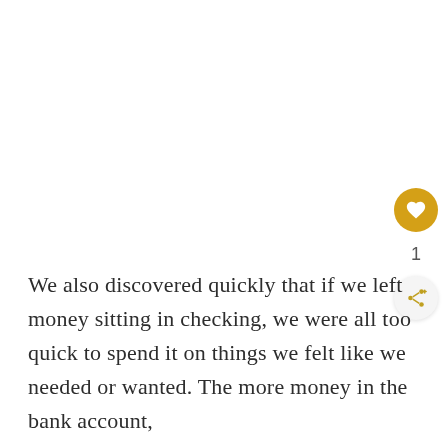We also discovered quickly that if we left money sitting in checking, we were all too quick to spend it on things we felt like we needed or wanted. The...